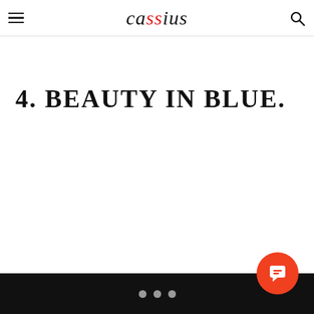cassius
4. BEAUTY IN BLUE.
• • •